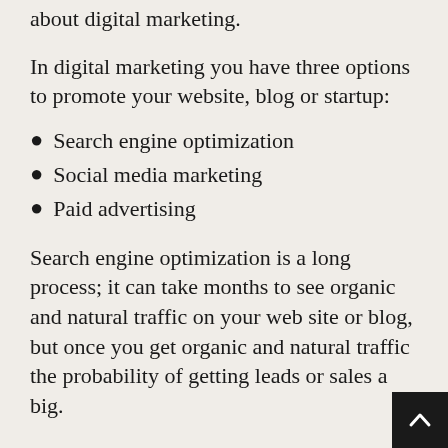about digital marketing.
In digital marketing you have three options to promote your website, blog or startup:
Search engine optimization
Social media marketing
Paid advertising
Search engine optimization is a long process; it can take months to see organic and natural traffic on your web site or blog, but once you get organic and natural traffic the probability of getting leads or sales a… big.